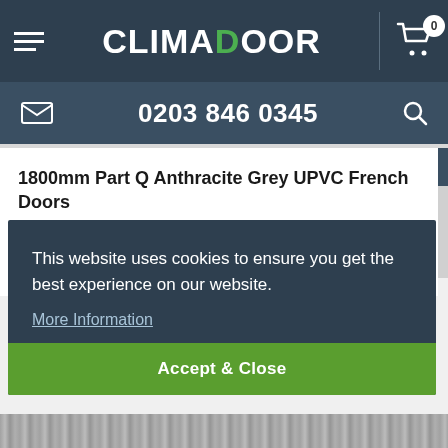CLIMADOOR — Navigation bar with hamburger menu, logo, cart (0)
0203 846 0345
1800mm Part Q Anthracite Grey UPVC French Doors
6ft External French Doors
2090 x 1790mm
This website uses cookies to ensure you get the best experience on our website.
More Information
Accept & Close